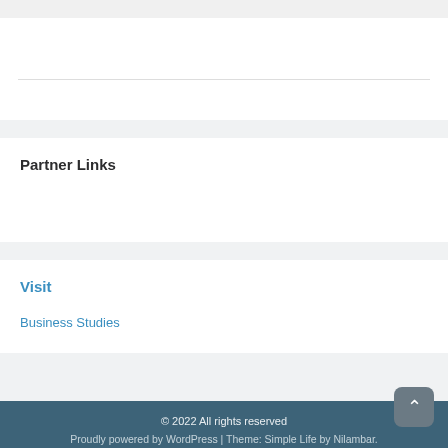Partner Links
Visit
Business Studies
© 2022 All rights reserved
Proudly powered by WordPress | Theme: Simple Life by Nilambar.